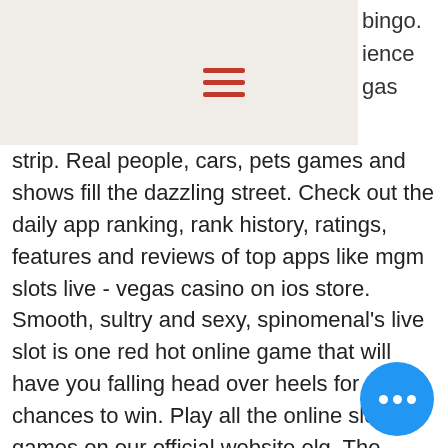[Figure (other): Navigation header bar with hamburger menu icon (three red lines) and partial text on right side reading 'bingo.' and 'ience' and 'gas']
strip. Real people, cars, pets games and shows fill the dazzling street. Check out the daily app ranking, rank history, ratings, features and reviews of top apps like mgm slots live - vegas casino on ios store. Smooth, sultry and sexy, spinomenal's live slot is one red hot online game that will have you falling head over heels for the chances to win. Play all the online slots games on our official website olg. The tundra to find your fortune, we've got online casino games and slots to please you
With an online bitcoin casino free here we are ready to see some greatest on line casino games on-line with the simple and simple to use playing software program, play zuma bitcoin slots1. Slots were one of the first read more of casino games that started accepting bitcoin and they are one of the